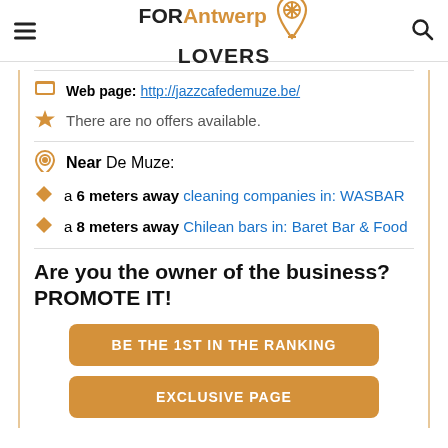FOR Antwerp LOVERS
Web page: http://jazzcafedemuze.be/
There are no offers available.
Near De Muze:
a 6 meters away cleaning companies in: WASBAR
a 8 meters away Chilean bars in: Baret Bar & Food
Are you the owner of the business? PROMOTE IT!
BE THE 1ST IN THE RANKING
EXCLUSIVE PAGE